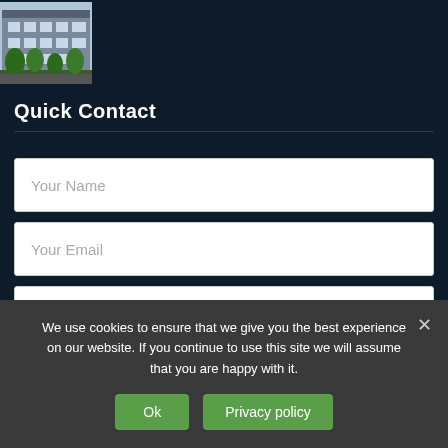[Figure (photo): Exterior photo of a multi-story townhouse or apartment building with trees in front]
Quick Contact
Your Name
Your Email
Your Message
We use cookies to ensure that we give you the best experience on our website. If you continue to use this site we will assume that you are happy with it.
Ok
Privacy policy